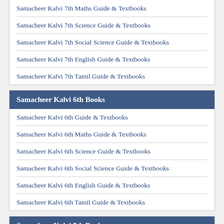Samacheer Kalvi 7th Maths Guide & Textbooks
Samacheer Kalvi 7th Science Guide & Textbooks
Samacheer Kalvi 7th Social Science Guide & Textbooks
Samacheer Kalvi 7th English Guide & Textbooks
Samacheer Kalvi 7th Tamil Guide & Textbooks
Samacheer Kalvi 6th Books
Samacheer Kalvi 6th Guide & Textbooks
Samacheer Kalvi 6th Maths Guide & Textbooks
Samacheer Kalvi 6th Science Guide & Textbooks
Samacheer Kalvi 6th Social Science Guide & Textbooks
Samacheer Kalvi 6th English Guide & Textbooks
Samacheer Kalvi 6th Tamil Guide & Textbooks
Samacheer Kalvi 5th Books
Samacheer Kalvi 5th Guide & Textbooks